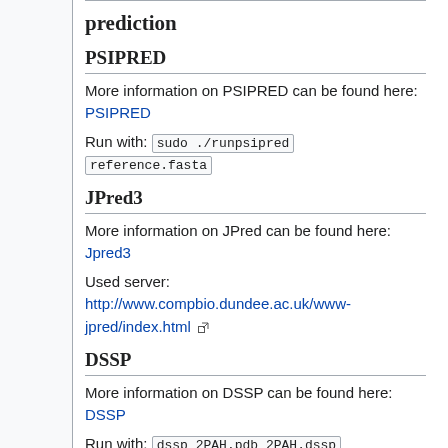prediction
PSIPRED
More information on PSIPRED can be found here: PSIPRED
Run with: sudo ./runpsipred reference.fasta
JPred3
More information on JPred can be found here: Jpred3
Used server:
http://www.compbio.dundee.ac.uk/www-jpred/index.html
DSSP
More information on DSSP can be found here: DSSP
Run with: dssp 2PAH.pdb 2PAH.dssp
Result
It was necessary to align the sequence of the